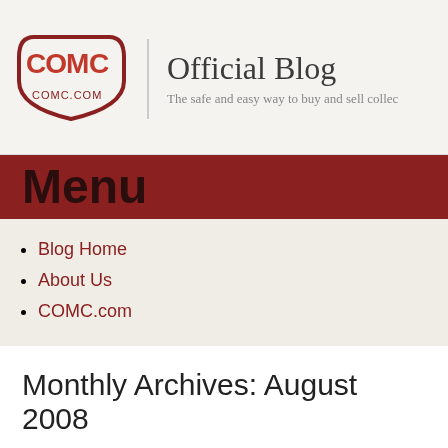COMC Official Blog - The safe and easy way to buy and sell collec...
Menu
Blog Home
About Us
COMC.com
Monthly Archives: August 2008
Save your favorite searche...
Posted on August 29, 2008 by Tim Getsch @ COMC